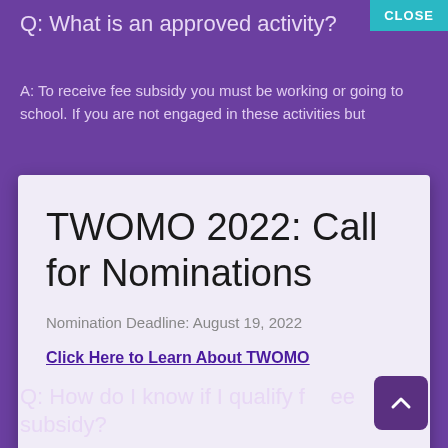Q:  What is an approved activity?
CLOSE
A:  To receive fee subsidy you must be working or going to school.  If you are not engaged in these activities but
TWOMO 2022: Call for Nominations
Nomination Deadline: August 19, 2022
Click Here to Learn About TWOMO
Q:  How do I know if I qualify for fee subsidy?